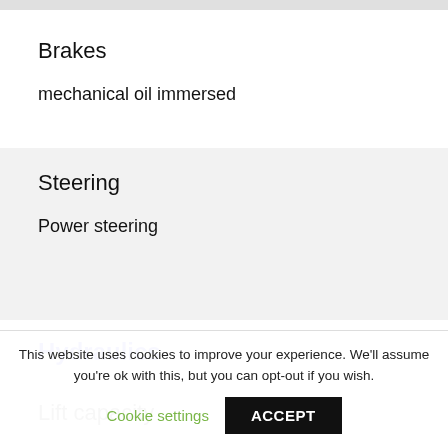Brakes
mechanical oil immersed
Steering
Power steering
Hydraulics
Lift capacity
This website uses cookies to improve your experience. We'll assume you're ok with this, but you can opt-out if you wish.
Cookie settings
ACCEPT